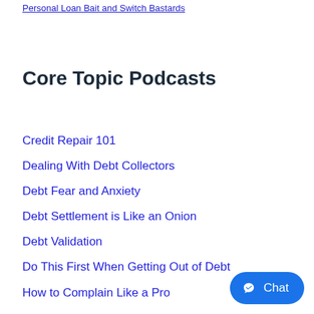Personal Loan Bait and Switch Bastards
Core Topic Podcasts
Credit Repair 101
Dealing With Debt Collectors
Debt Fear and Anxiety
Debt Settlement is Like an Onion
Debt Validation
Do This First When Getting Out of Debt
How to Complain Like a Pro